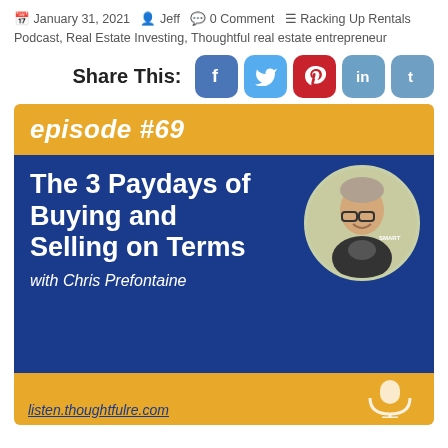January 31, 2021 · Jeff · 0 Comment · Racking Up Rentals Podcast, Real Estate Investing, Thoughtful real estate entrepreneur
Share This:
[Figure (screenshot): Social share buttons: Facebook, Twitter, Pinterest, LinkedIn, Tumblr]
[Figure (infographic): Podcast episode card: episode #69 - The 3 Paydays of Buying and Selling on Terms with Chris Prefontaine. listen.thoughtfulre.com]